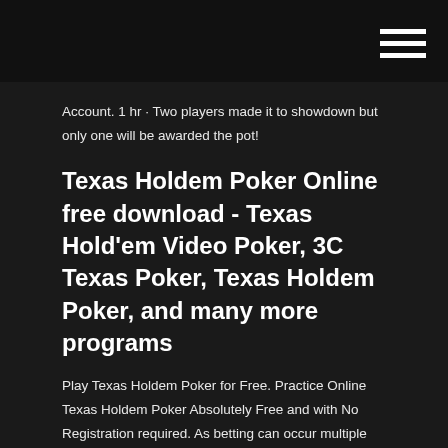Account. 1 hr · Two players made it to showdown but only one will be awarded the pot!
Texas Holdem Poker Online free download - Texas Hold'em Video Poker, 3C Texas Poker, Texas Holdem Poker, and many more programs
Play Texas Holdem Poker for Free. Practice Online Texas Holdem Poker Absolutely Free and with No Registration required. As betting can occur multiple times throughout the hand, it can be very lucrative, and it is quite exciting, so it is common for internet gamers to play Texas holdem poker. According to the popular online gaming “blog” and advice site, Hold’em, the 3 best online sites for Texas